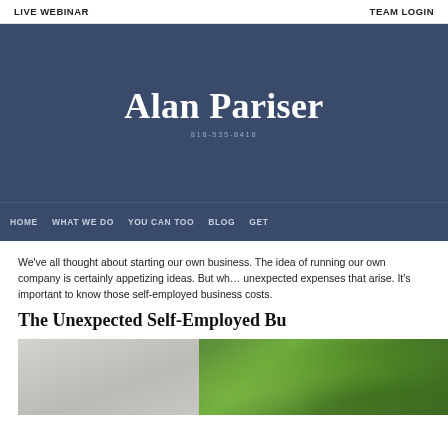LIVE WEBINAR | TEAM LOGIN
Alan Pariser
818-535-8418
HOME  WHAT WE DO  YOU CAN TOO  BLOG  GET
We've all thought about starting our own business. The idea of running our own company is certainly appetizing ideas. But when it comes to the unexpected expenses that arise. It's important to know those self-employed business costs.
The Unexpected Self-Employed Bu
[Figure (photo): Photo of a building wall and green leafy plants/foliage]